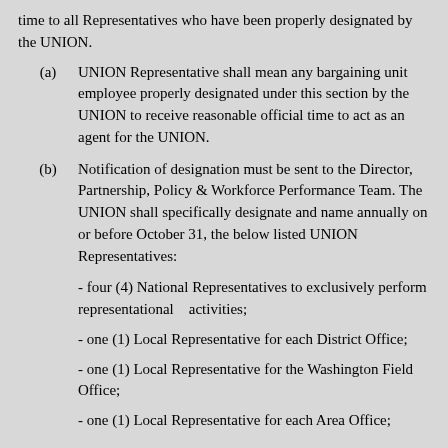time to all Representatives who have been properly designated by the UNION.
(a) UNION Representative shall mean any bargaining unit employee properly designated under this section by the UNION to receive reasonable official time to act as an agent for the UNION.
(b) Notification of designation must be sent to the Director, Partnership, Policy & Workforce Performance Team. The UNION shall specifically designate and name annually on or before October 31, the below listed UNION Representatives:
- four (4) National Representatives to exclusively perform representational activities;
- one (1) Local Representative for each District Office;
- one (1) Local Representative for the Washington Field Office;
- one (1) Local Representative for each Area Office;